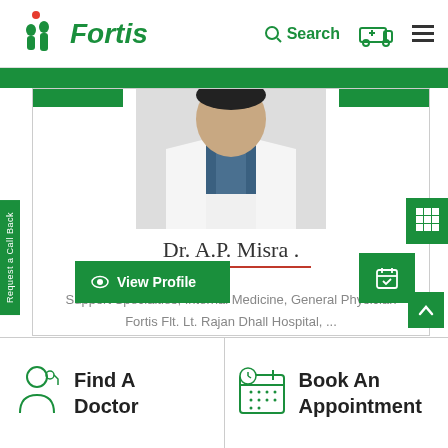[Figure (logo): Fortis Healthcare logo with green human figure icon and red dot]
Search
[Figure (screenshot): Doctor photo showing a physician in white coat with mask around neck]
Dr. A.P. Misra .
Support Specialties, Internal Medicine, General Physician
Fortis Flt. Lt. Rajan Dhall Hospital, ...
View Profile
Request a Call Back
Find A Doctor
Book An Appointment